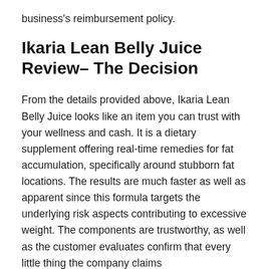business's reimbursement policy.
Ikaria Lean Belly Juice Review– The Decision
From the details provided above, Ikaria Lean Belly Juice looks like an item you can trust with your wellness and cash. It is a dietary supplement offering real-time remedies for fat accumulation, specifically around stubborn fat locations. The results are much faster as well as apparent since this formula targets the underlying risk aspects contributing to excessive weight. The components are trustworthy, as well as the customer evaluates confirm that every little thing the company claims